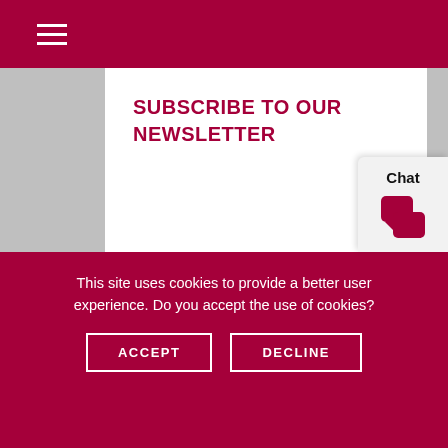SUBSCRIBE TO OUR NEWSLETTER
HOME
INDUSTRIES SERVED
PRODUCTS
This site uses cookies to provide a better user experience. Do you accept the use of cookies?
ACCEPT
DECLINE